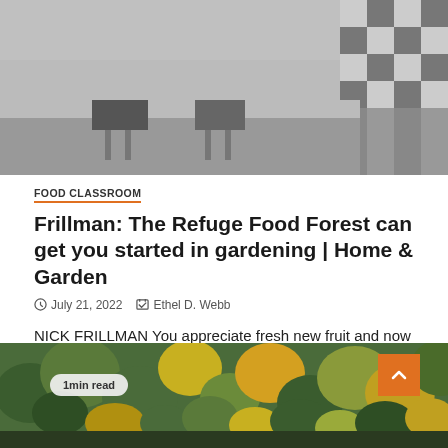[Figure (photo): Black and white photo of people sitting at a diner counter with checkered floor tiles visible]
FOOD CLASSROOM
Frillman: The Refuge Food Forest can get you started in gardening | Home & Garden
July 21, 2022  Ethel D. Webb
NICK FRILLMAN You appreciate fresh new fruit and now you want to mature your personal. Starting a backyard garden requires...
[Figure (photo): Aerial view of a colorful food forest with green, yellow and orange tree canopies]